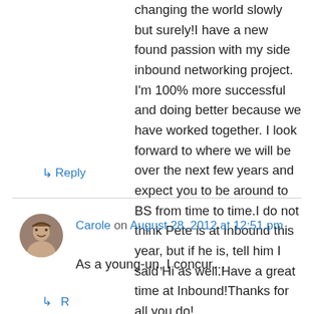changing the world slowly but surely!I have a new found passion with my side inbound networking project. I'm 100% more successful and doing better because we have worked together. I look forward to where we will be over the next few years and expect you to be around to BS from time to time.I do not think Pete is at Inbound this year, but if he is, tell him I said Hi as well.Have a great time at Inbound!Thanks for all you do!
↳ Reply
Carole on August 28, 2012 at 12:51 pm
As a young-un, I concur…
↳ Reply